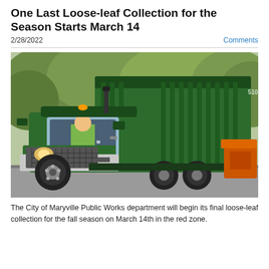One Last Loose-leaf Collection for the Season Starts March 14
2/28/2022
Comments
[Figure (photo): A large dark green municipal garbage/leaf collection truck (Freightliner) facing front-left, with the driver visible wearing a high-visibility vest, parked on a road with trees in the background. An orange piece of equipment is visible in the background to the right.]
The City of Maryville Public Works department will begin its final loose-leaf collection for the fall season on March 14th in the red zone.